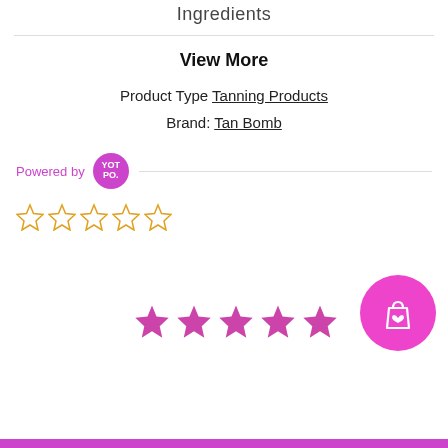Ingredients
View More
Product Type Tanning Products
Brand: Tan Bomb
Powered by YOTPO.
[Figure (other): Five empty star rating icons in yellow/gold outline]
[Figure (other): Five filled purple/pink star rating icons]
[Figure (other): Pink circular shopping cart button with heart icon]